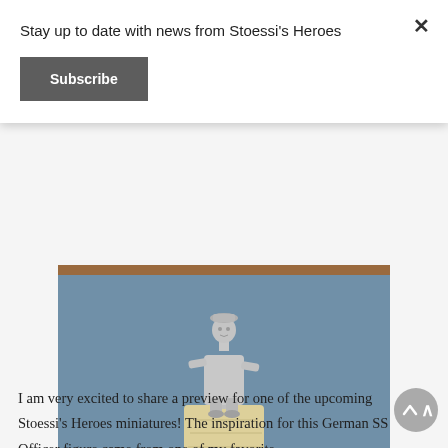Stay up to date with news from Stoessi's Heroes
Subscribe
[Figure (photo): A grey resin/pewter miniature figurine of a German SS Officer in a long coat, standing on a wooden cork base, photographed against a blue backdrop with a wooden ledge at top and bottom.]
I am very excited to share a preview for one of the upcoming Stoessi's Heroes miniatures! The inspiration for this German SS Officer figure came from one of my favorite